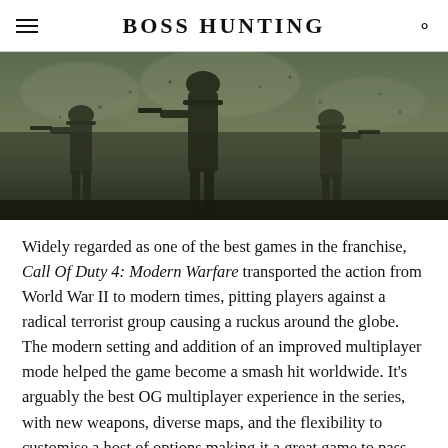BOSS HUNTING
[Figure (photo): Dark toned image of soldiers in silhouette walking through smoke/debris in a war scene]
Widely regarded as one of the best games in the franchise, Call Of Duty 4: Modern Warfare transported the action from World War II to modern times, pitting players against a radical terrorist group causing a ruckus around the globe. The modern setting and addition of an improved multiplayer mode helped the game become a smash hit worldwide. It's arguably the best OG multiplayer experience in the series, with new weapons, diverse maps, and the flexibility to customise a host of options making it a great game to pass the time